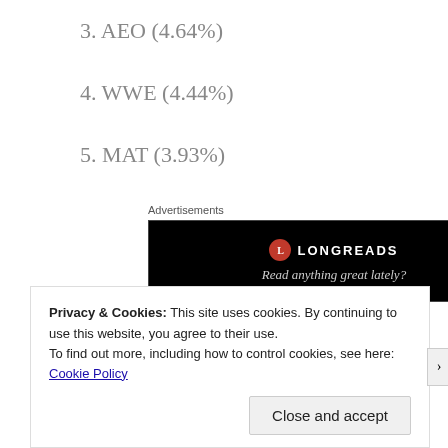3. AEO (4.64%)
4. WWE (4.44%)
5. MAT (3.93%)
[Figure (other): Longreads advertisement banner with logo and tagline 'Read anything great lately?' on black background]
6. BUD (3.62%)
Privacy & Cookies: This site uses cookies. By continuing to use this website, you agree to their use. To find out more, including how to control cookies, see here: Cookie Policy